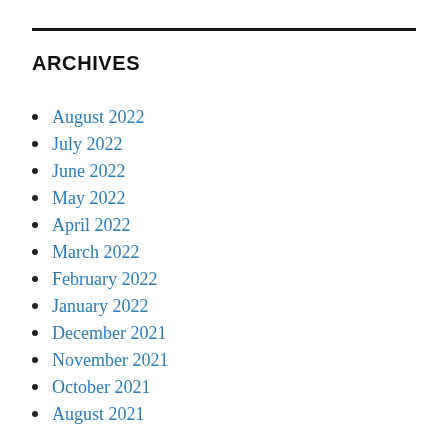ARCHIVES
August 2022
July 2022
June 2022
May 2022
April 2022
March 2022
February 2022
January 2022
December 2021
November 2021
October 2021
August 2021